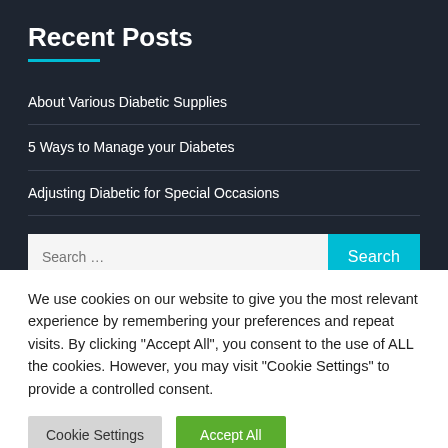Recent Posts
About Various Diabetic Supplies
5 Ways to Manage your Diabetes
Adjusting Diabetic for Special Occasions
Contact Us
We use cookies on our website to give you the most relevant experience by remembering your preferences and repeat visits. By clicking "Accept All", you consent to the use of ALL the cookies. However, you may visit "Cookie Settings" to provide a controlled consent.
Cookie Settings
Accept All